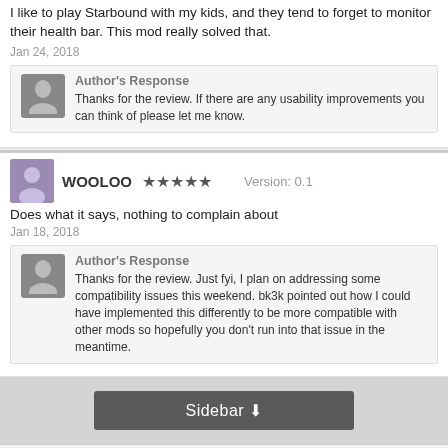I like to play Starbound with my kids, and they tend to forget to monitor their health bar. This mod really solved that.
Jan 24, 2018
Author's Response
Thanks for the review. If there are any usability improvements you can think of please let me know.
WOOLOO   ★★★★★   Version: 0.1
Does what it says, nothing to complain about
Jan 18, 2018
Author's Response
Thanks for the review. Just fyi, I plan on addressing some compatibility issues this weekend. bk3k pointed out how I could have implemented this differently to be more compatible with other mods so hopefully you don't run into that issue in the meantime.
Sidebar ↓
🏠 Forums > Mods > Starbound > Character Improvements
Chucklefish Forums (light)   Contact Us   Help
Forum software by XenForo™   Terms and Rules   Privacy Policy
Some XenForo functionality crafted by Hex Themes.